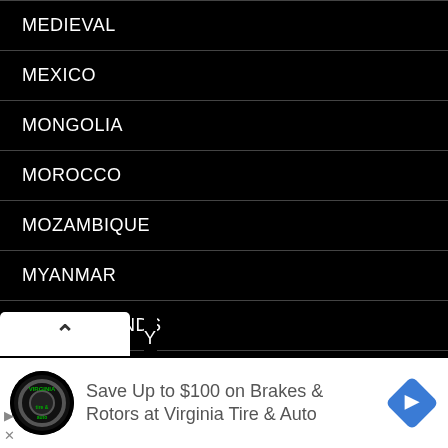MEDIEVAL
MEXICO
MONGOLIA
MOROCCO
MOZAMBIQUE
MYANMAR
NETHERLANDS
NEW ZEALAND
NORTH AMERICA
[Figure (screenshot): Advertisement banner: Save Up to $100 on Brakes & Rotors at Virginia Tire & Auto, with Virginia Tire & Auto logo on the left and a blue diamond navigation icon on the right]